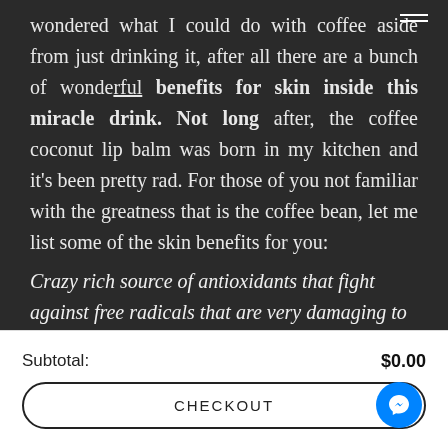wondered what I could do with coffee aside from just drinking it, after all there are a bunch of wonderful benefits for skin inside this miracle drink. Not long after, the coffee coconut lip balm was born in my kitchen and it's been pretty rad. For those of you not familiar with the greatness that is the coffee bean, let me list some of the skin benefits for you:
Crazy rich source of antioxidants that fight against free radicals that are very damaging to skin. The antioxidants
Subtotal: $0.00
CHECKOUT